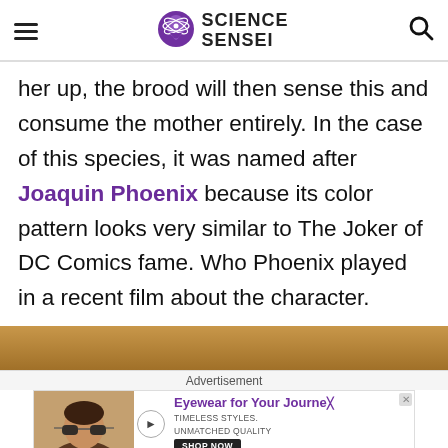Science Sensei
her up, the brood will then sense this and consume the mother entirely. In the case of this species, it was named after Joaquin Phoenix because its color pattern looks very similar to The Joker of DC Comics fame. Who Phoenix played in a recent film about the character.
[Figure (photo): Sandy/earthy background photo strip at bottom of article]
Advertisement
[Figure (photo): Advertisement banner: man wearing sunglasses, ad for Eyewear for Your Journey with TIMELESS STYLES, UNMATCHED QUALITY and SHOP NOW button]